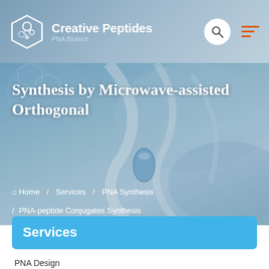Creative Peptides PNA Biotech
Synthesis by Microwave-assisted Orthogonal
Home / Services / PNA Synthesis / PNA-peptide Conjugates Synthesis
Services
PNA Design